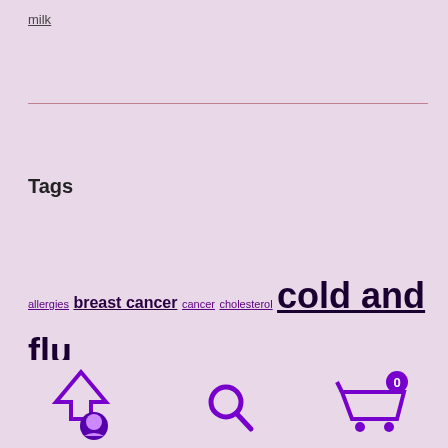milk
Tags
allergies breast cancer cancer cholesterol cold and flu prevention cold and flu treatment colon constipation detoxification digestion disease prevention drinking water flu shots food safety global climate ch...